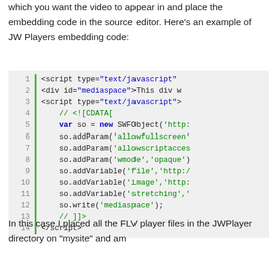which you want the video to appear in and place the embedding code in the source editor. Here's an example of JW Players embedding code:
[Figure (screenshot): Code block showing JW Player embedding code with 14 numbered lines, syntax-highlighted in blue and green on a light grey background with a green left border.]
In this case I placed all the FLV player files in the JWPlayer directory on “mysite” and am